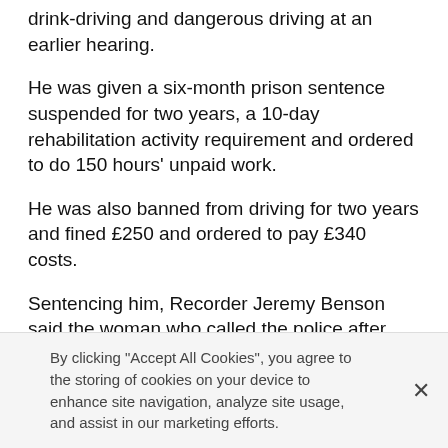drink-driving and dangerous driving at an earlier hearing.
He was given a six-month prison sentence suspended for two years, a 10-day rehabilitation activity requirement and ordered to do 150 hours' unpaid work.
He was also banned from driving for two years and fined £250 and ordered to pay £340 costs.
Sentencing him, Recorder Jeremy Benson said the woman who called the police after having to swerve to avoid a collision with Vincent's car had been worried he was going to kill someone.
The court heard Vincent, who had no previous
By clicking "Accept All Cookies", you agree to the storing of cookies on your device to enhance site navigation, analyze site usage, and assist in our marketing efforts.